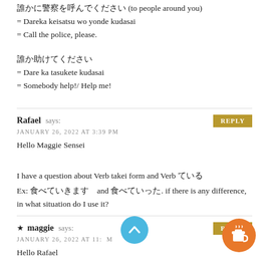誰かに警察を呼んでください (to people around you)
= Dareka keisatsu wo yonde kudasai
= Call the police, please.
誰か助けてください
= Dare ka tasukete kudasai
= Somebody help!/ Help me!
Rafael says:
JANUARY 26, 2022 AT 3:39 PM
Hello Maggie Sensei

I have a question about Verb takei form and Verb ている
Ex: 食べていきます　and 食べていった. if there is any difference, in what situation do I use it?
★ maggie says:
JANUARY 26, 2022 AT 11:... M
Hello Rafael